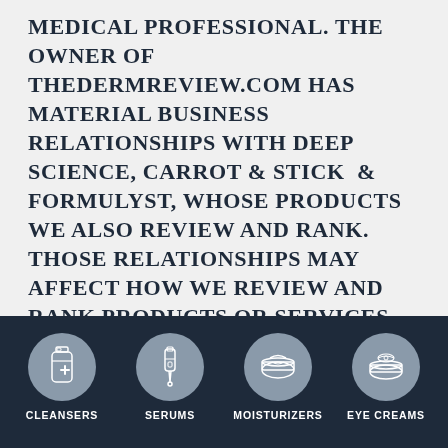MEDICAL PROFESSIONAL. THE OWNER OF THEDERMREVIEW.COM HAS MATERIAL BUSINESS RELATIONSHIPS WITH DEEP SCIENCE, CARROT & STICK & FORMULYST, WHOSE PRODUCTS WE ALSO REVIEW AND RANK. THOSE RELATIONSHIPS MAY AFFECT HOW WE REVIEW AND RANK PRODUCTS OR SERVICES MENTIONED ON THE SITE. TO LEARN MORE ABOUT THE DETAILS OF THESE RELATIONSHIPS AND HOW PRODUCTS ARE RANKED ON OUR SITE, PLEASE READ THE "FULL DISCLOSURE" AND "METHODOLOGY" SECTIONS. OTHER COMPANIES' MARKS USED ON THIS SITE REMAIN THE INTELLECTUAL PROPERTY OF THEIR RESPECTIVE OWNERS. INCLUDING INTELLECTUA...
[Figure (infographic): Dark navy footer bar with four circular grey icons representing product categories: CLEANSERS (bottle icon), SERUMS (dropper bottle icon), MOISTURIZERS (cream jar icon), EYE CREAMS (eye cream pot icon). Each icon is in a grey circle with white label below.]